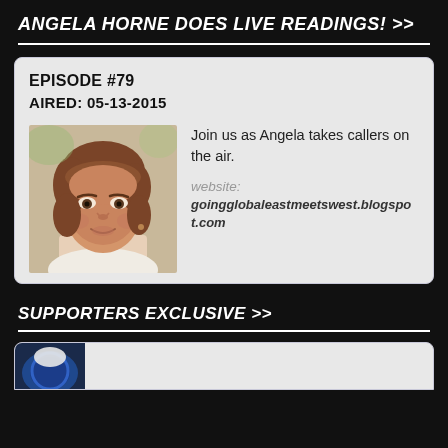ANGELA HORNE DOES LIVE READINGS! >>
EPISODE #79
AIRED: 05-13-2015
[Figure (photo): Portrait photo of Angela Horne, a woman with short auburn/brown hair, smiling slightly, wearing a light-colored top.]
Join us as Angela takes callers on the air.
website:
goingglobaleastmeetswest.blogspot.com
SUPPORTERS EXCLUSIVE >>
[Figure (screenshot): Bottom card with partial logo/image visible at bottom of page.]